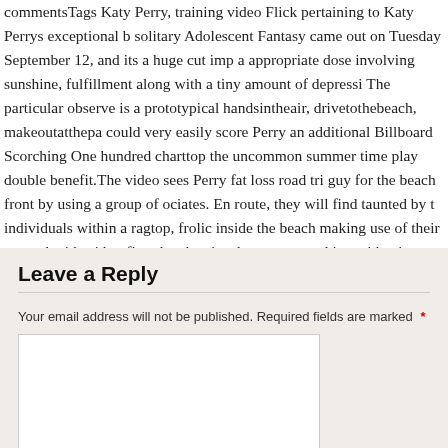commentsTags Katy Perry, training video Flick pertaining to Katy Perrys exceptional b solitary Adolescent Fantasy came out on Tuesday September 12, and its a huge cut imp a appropriate dose involving sunshine, fulfillment along with a tiny amount of depressi The particular observe is a prototypical handsintheair, drivetothebeach, makeoutatthepa could very easily score Perry an additional Billboard Scorching One hundred charttop the uncommon summer time play double benefit.The video sees Perry fat loss road tri guy for the beach front by using a group of ociates. En route, they will find taunted by t individuals within a ragtop, frolic inside the beach making use of their apparel with, si bonfire plus the ejaculate cease working with a inn bedroom to acquire sexual intercou .
Leave a Reply
Your email address will not be published. Required fields are marked *